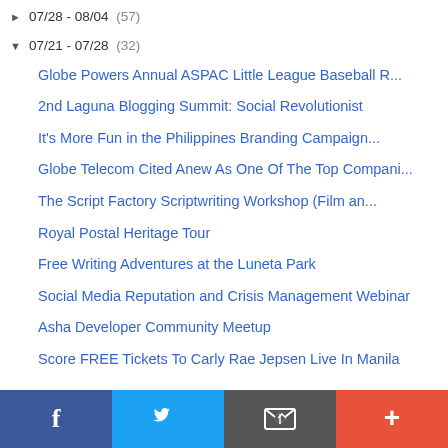07/28 - 08/04 (57)
07/21 - 07/28 (32)
Globe Powers Annual ASPAC Little League Baseball R...
2nd Laguna Blogging Summit: Social Revolutionist
It's More Fun in the Philippines Branding Campaign...
Globe Telecom Cited Anew As One Of The Top Compani...
The Script Factory Scriptwriting Workshop (Film an...
Royal Postal Heritage Tour
Free Writing Adventures at the Luneta Park
Social Media Reputation and Crisis Management Webinar
Asha Developer Community Meetup
Score FREE Tickets To Carly Rae Jepsen Live In Manila
[Figure (other): Social sharing footer bar with Facebook, Twitter, email/share, and add (+) buttons]